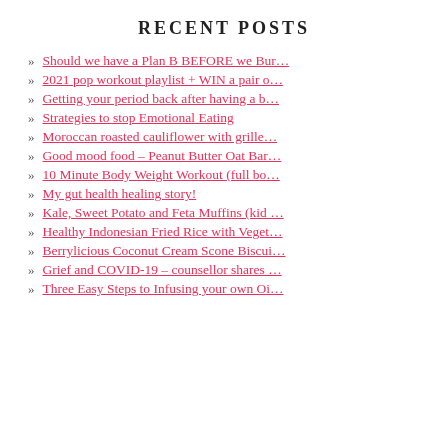RECENT POSTS
Should we have a Plan B BEFORE we Bur…
2021 pop workout playlist + WIN a pair o…
Getting your period back after having a b…
Strategies to stop Emotional Eating
Moroccan roasted cauliflower with grille…
Good mood food – Peanut Butter Oat Bar…
10 Minute Body Weight Workout (full bo…
My gut health healing story!
Kale, Sweet Potato and Feta Muffins (kid …
Healthy Indonesian Fried Rice with Veget…
Berrylicious Coconut Cream Scone Biscui…
Grief and COVID-19 – counsellor shares …
Three Easy Steps to Infusing your own Oi…